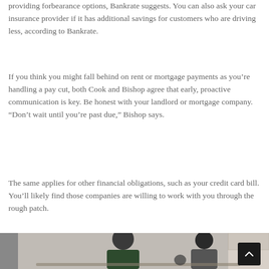Negotiate with your utility companies or ask if they're providing forbearance options, Bankrate suggests. You can also ask your car insurance provider if it has additional savings for customers who are driving less, according to Bankrate.
If you think you might fall behind on rent or mortgage payments as you're handling a pay cut, both Cook and Bishop agree that early, proactive communication is key. Be honest with your landlord or mortgage company. “Don’t wait until you’re past due,” Bishop says.
The same applies for other financial obligations, such as your credit card bill. You’ll likely find those companies are willing to work with you through the rough patch.
[Figure (photo): Photo of a man and woman sitting at a kitchen table, appearing to review documents or discuss finances. A child is partially visible. Kitchen cabinets visible in background.]